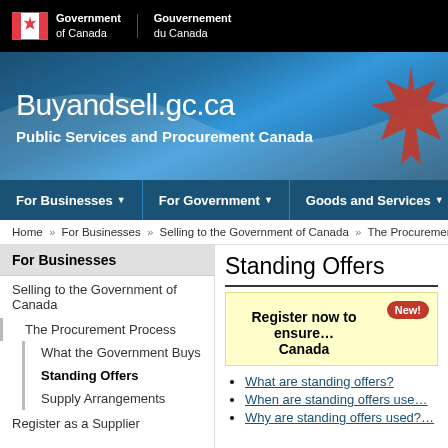[Figure (screenshot): Government of Canada logo with maple leaf flag icon and bilingual text]
Buyandsell.gc.ca — Public Services and Procurement Canada
For Businesses | For Government | Goods and Services | Applic...
Home > For Businesses > Selling to the Government of Canada > The Procurement Pro...
For Businesses
Selling to the Government of Canada
The Procurement Process
What the Government Buys
Standing Offers
Supply Arrangements
Register as a Supplier
Standing Offers
Register now to ensure ... Canada
What are standing offers?
When are standing offers use...
Why are standing offers used?...